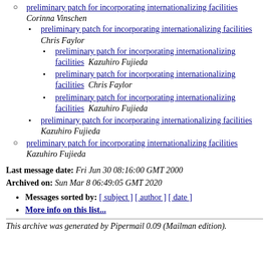preliminary patch for incorporating internationalizing facilities  Corinna Vinschen
preliminary patch for incorporating internationalizing facilities  Chris Faylor
preliminary patch for incorporating internationalizing facilities  Kazuhiro Fujieda
preliminary patch for incorporating internationalizing facilities  Chris Faylor
preliminary patch for incorporating internationalizing facilities  Kazuhiro Fujieda
preliminary patch for incorporating internationalizing facilities  Kazuhiro Fujieda
preliminary patch for incorporating internationalizing facilities  Kazuhiro Fujieda
Last message date: Fri Jun 30 08:16:00 GMT 2000
Archived on: Sun Mar 8 06:49:05 GMT 2020
Messages sorted by: [ subject ] [ author ] [ date ]
More info on this list...
This archive was generated by Pipermail 0.09 (Mailman edition).